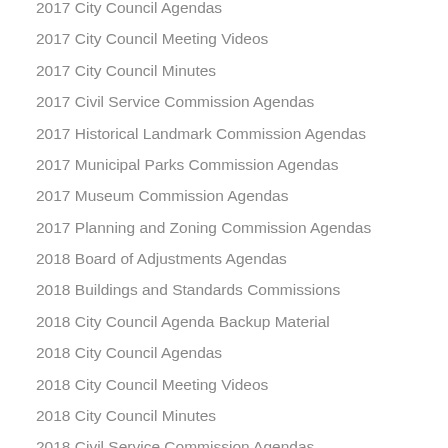2017 City Council Agendas
2017 City Council Meeting Videos
2017 City Council Minutes
2017 Civil Service Commission Agendas
2017 Historical Landmark Commission Agendas
2017 Municipal Parks Commission Agendas
2017 Museum Commission Agendas
2017 Planning and Zoning Commission Agendas
2018 Board of Adjustments Agendas
2018 Buildings and Standards Commissions
2018 City Council Agenda Backup Material
2018 City Council Agendas
2018 City Council Meeting Videos
2018 City Council Minutes
2018 Civil Service Commission Agendas
2018 Historical Landmark Commission Agendas
2018 Planning and Zoning Commission Agendas